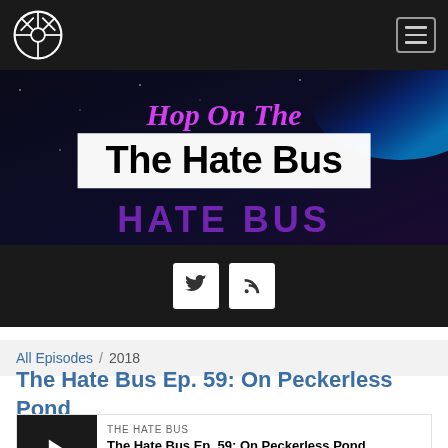[Figure (screenshot): Navigation bar with steering wheel logo on left and hamburger menu icon on right, dark background]
[Figure (screenshot): Hero banner image with dark space background, neon pink 'Hop On The' text above a white overlay box containing 'The Hate Bus' in bold black, with neon purple HATE BUS text below]
[Figure (screenshot): Social links bar with dark background containing Twitter bird icon button and RSS feed icon button]
All Episodes / 2018
The Hate Bus Ep. 59: On Peckerless Pond
THE HATE BUS
The Hate Bus Ep. 59: On Peckerless Pond